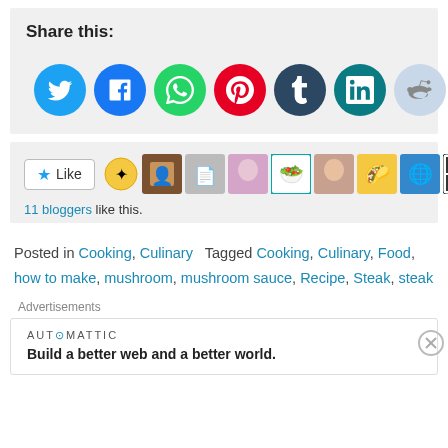Share this:
[Figure (infographic): Row of social media share buttons: Twitter (light blue), Facebook (blue), WhatsApp (green), Pinterest (red), Tumblr (dark navy), LinkedIn (teal), Reddit (light blue-grey), Skype (sky blue), Email (grey)]
[Figure (infographic): Like button widget with star icon and 'Like' text, followed by a strip of blogger avatar thumbnails. Text below: '11 bloggers like this.']
11 bloggers like this.
Posted in Cooking, Culinary   Tagged Cooking, Culinary, Food, how to make, mushroom, mushroom sauce, Recipe, Steak, steak
Advertisements
AUTOMATTIC
Build a better web and a better world.